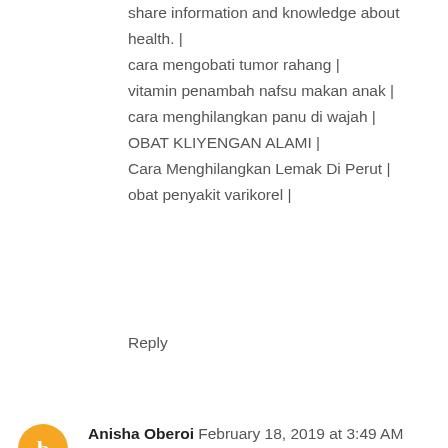share information and knowledge about health. | cara mengobati tumor rahang | vitamin penambah nafsu makan anak | cara menghilangkan panu di wajah | OBAT KLIYENGAN ALAMI | Cara Menghilangkan Lemak Di Perut | obat penyakit varikorel |
Reply
Anisha Oberoi  February 18, 2019 at 3:49 AM
Happy to see this wonderful article, You are giving inspiration, a motivation to us. The substance you dispersed here is fundamentally incomprehensible.
Hyderabad Call Girls
Hyderabad Escorts
Reply
asiap  March 4, 2019 at 8:57 PM
Good information. i like this srticle. This is the best blog...